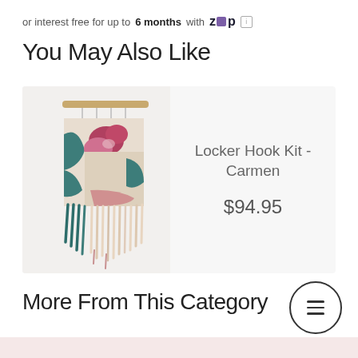or interest free for up to 6 months with Zip [info]
You May Also Like
[Figure (photo): Locker hook woven wall hanging kit named Carmen, showing a boho-style textile with teal, pink, and cream yarn fringe hanging from a wooden dowel]
Locker Hook Kit - Carmen
$94.95
More From This Category
[Figure (other): Circular hamburger menu button icon]